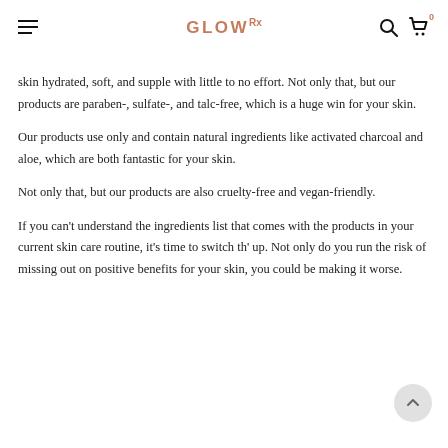GLOW Rx
skin hydrated, soft, and supple with little to no effort. Not only that, but our products are paraben-, sulfate-, and talc-free, which is a huge win for your skin.
Our products use only and contain natural ingredients like activated charcoal and aloe, which are both fantastic for your skin.
Not only that, but our products are also cruelty-free and vegan-friendly.
If you can't understand the ingredients list that comes with the products in your current skin care routine, it's time to switch th' up. Not only do you run the risk of missing out on positive benefits for your skin, you could be making it worse.